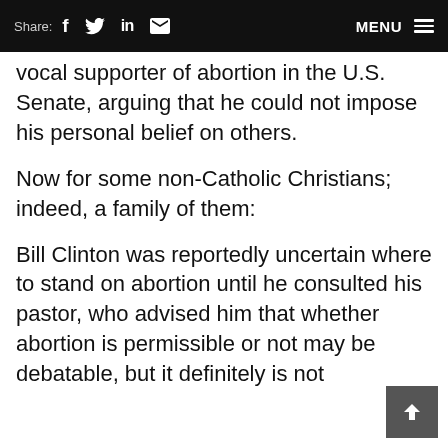Share: f  in  [mail]  MENU
vocal supporter of abortion in the U.S. Senate, arguing that he could not impose his personal belief on others.
Now for some non-Catholic Christians; indeed, a family of them:
Bill Clinton was reportedly uncertain where to stand on abortion until he consulted his pastor, who advised him that whether abortion is permissible or not may be debatable, but it definitely is not